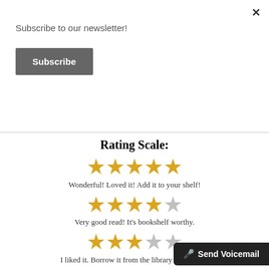×
Subscribe to our newsletter!
Subscribe
Rating Scale:
[Figure (infographic): 5 gold stars rating]
Wonderful! Loved it! Add it to your shelf!
[Figure (infographic): 4 gold stars, 1 silver star rating]
Very good read! It's bookshelf worthy.
[Figure (infographic): 3 gold stars, 2 silver stars rating]
I liked it. Borrow it from the library or a friend.
[Figure (infographic): 2 gold stars, 3 silver stars rating]
I got through it...barely! If you m